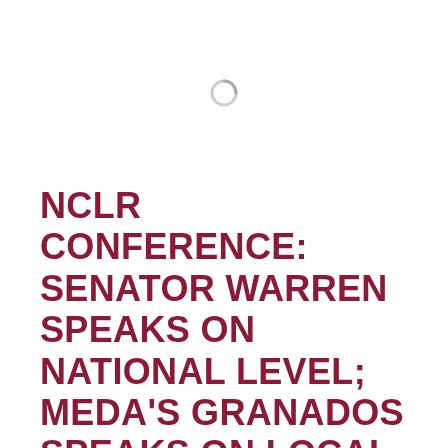[Figure (other): Loading spinner icon in the upper half of the page]
NCLR CONFERENCE: SENATOR WARREN SPEAKS ON NATIONAL LEVEL; MEDA'S GRANADOS SPEAKS ON LOCAL LEVEL
On: July 29, 2014 | By: Cgil |
In: Conferences, Financial Capability